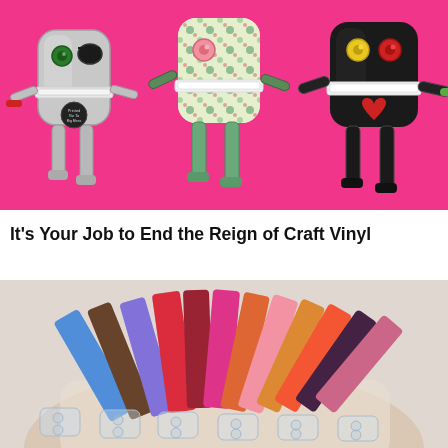[Figure (photo): Three robot-shaped pouches/purses on a bright pink background. Left robot is silver/metallic with green and black button eyes and a pirate eye patch. Middle robot has floral fabric pattern (teal/yellow flowers) with a pink button. Right robot is black with yellow and red buttons and a red heart applique. All have zipper mouths and stick-like arms and legs.]
It's Your Job to End the Reign of Craft Vinyl
[Figure (photo): A hand holding a fan of colorful craft vinyl strips in various textures and colors including glitter, metallic, patterned, red, pink, purple, blue, and brown. Below the fan are several clear/transparent vinyl strips laid out flat.]